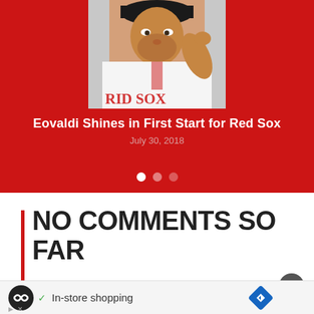[Figure (photo): Baseball pitcher in Red Sox white uniform with hand raised to head, on red background]
Eovaldi Shines in First Start for Red Sox
July 30, 2018
NO COMMENTS SO FAR
JUMP INTO A CONVERSATION
In-store shopping